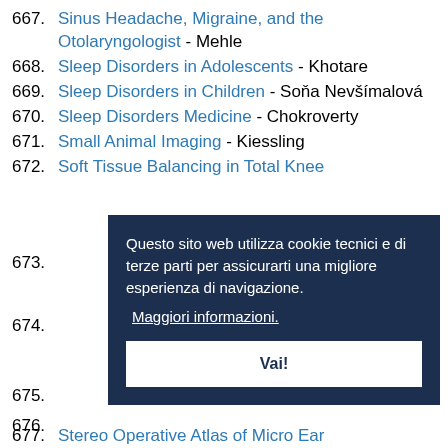667. Sinus Headache, Migraine, and the Otolaryngologist - Mehle
668. Sleep Disorders in Adolescents - Khotare
669. Sleep Disorders in Children - Soňa Nevšímalová
670. Sleep Disorders Medicine - Chokroverty
671. Small Animal Imaging - Kiessling
672. Soft Tissue Balancing in Total Knee
673.
674.
675.
676.
[Figure (screenshot): Cookie consent banner overlay with dark navy background. Text in Italian: 'Questo sito web utilizza cookie tecnici e di terze parti per assicurarti una migliore esperienza di navigazione.' Link: 'Maggiori informazioni.' Button: 'Vai!']
677. Stereo Operative Atlas of Micro Ear